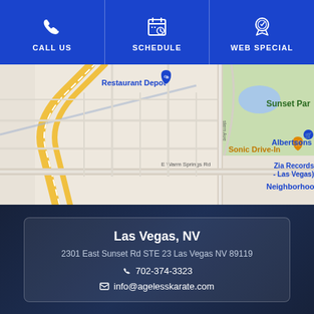CALL US | SCHEDULE | WEB SPECIAL
[Figure (map): Google Maps screenshot showing area near E Warm Springs Rd in Las Vegas, NV. Visible landmarks: Restaurant Depot, Sonic Drive-In, Albertsons, Zia Records Las Vegas, Walmart Neighborhood Market, Sunset Park.]
Las Vegas, NV
2301 East Sunset Rd STE 23 Las Vegas NV 89119
702-374-3323
info@agelesskarate.com